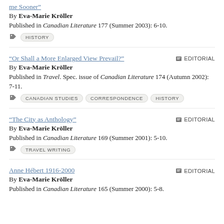me Sooner"
By Eva-Marie Kröller
Published in Canadian Literature 177 (Summer 2003): 6-10.
HISTORY
“Or Shall a More Enlarged View Prevail?”
EDITORIAL
By Eva-Marie Kröller
Published in Travel. Spec. issue of Canadian Literature 174 (Autumn 2002): 7-11.
CANADIAN STUDIES
CORRESPONDENCE
HISTORY
“The City as Anthology”
EDITORIAL
By Eva-Marie Kröller
Published in Canadian Literature 169 (Summer 2001): 5-10.
TRAVEL WRITING
Anne Hébert 1916-2000
EDITORIAL
By Eva-Marie Kröller
Published in Canadian Literature 165 (Summer 2000): 5-8.